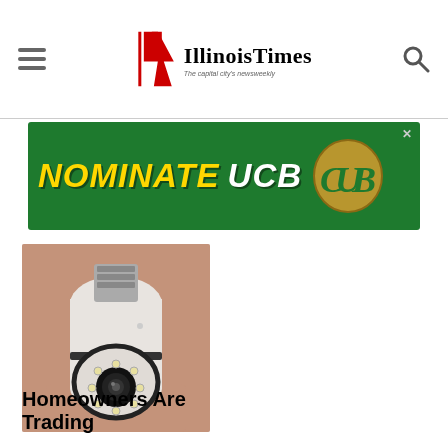Illinois Times — The capital city's newsweekly
[Figure (infographic): NOMINATE UCB advertisement banner with green background, gold and white bold italic text, and UCB logo emblem]
[Figure (photo): A white light-bulb shaped security camera with a rotating dome and multiple LED lights around a central camera lens, held in a person's hand]
Homeowners Are Trading